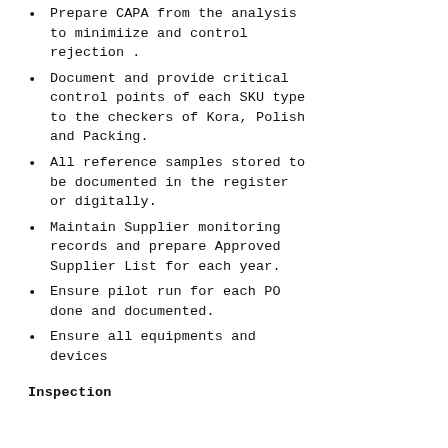Prepare CAPA from the analysis to minimiize and control rejection .
Document and provide critical control points of each SKU type to the checkers of Kora, Polish and Packing.
All reference samples stored to be documented in the register or digitally.
Maintain Supplier monitoring records and prepare Approved Supplier List for each year.
Ensure pilot run for each PO done and documented.
Ensure all equipments and devices
Inspection